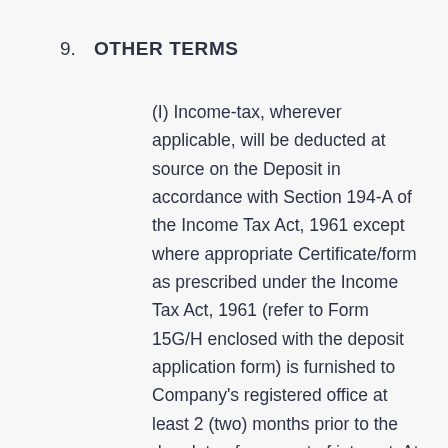9.  OTHER TERMS
(I) Income-tax, wherever applicable, will be deducted at source on the Deposit in accordance with Section 194-A of the Income Tax Act, 1961 except where appropriate Certificate/form as prescribed under the Income Tax Act, 1961 (refer to Form 15G/H enclosed with the deposit application form) is furnished to Company's registered office at least 2 (two) months prior to the due date of payment of interest. At present tax is deductible if the aggregate amount of interest paid or payable during the financial year exceeds Rs 5,000/- (Rupees